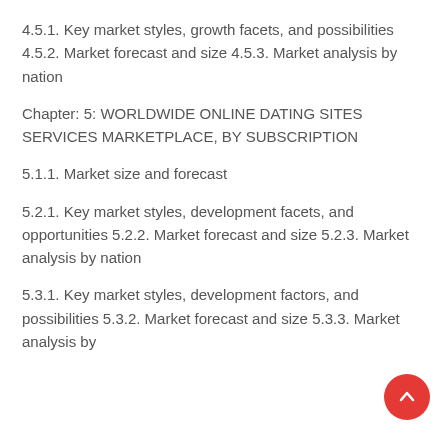4.5.1. Key market styles, growth facets, and possibilities 4.5.2. Market forecast and size 4.5.3. Market analysis by nation
Chapter: 5: WORLDWIDE ONLINE DATING SITES SERVICES MARKETPLACE, BY SUBSCRIPTION
5.1.1. Market size and forecast
5.2.1. Key market styles, development facets, and opportunities 5.2.2. Market forecast and size 5.2.3. Market analysis by nation
5.3.1. Key market styles, development factors, and possibilities 5.3.2. Market forecast and size 5.3.3. Market analysis by